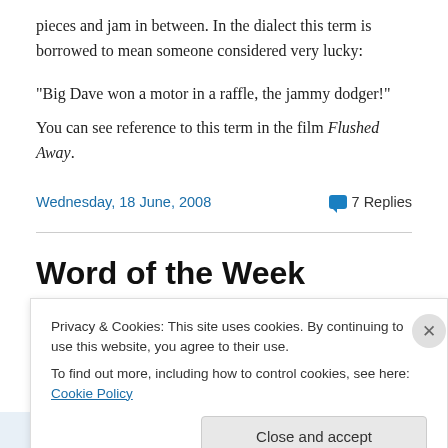pieces and jam in between. In the dialect this term is borrowed to mean someone considered very lucky:
“Big Dave won a motor in a raffle, the jammy dodger!”
You can see reference to this term in the film Flushed Away.
Wednesday, 18 June, 2008   💬 7 Replies
Word of the Week
Privacy & Cookies: This site uses cookies. By continuing to use this website, you agree to their use.
To find out more, including how to control cookies, see here: Cookie Policy
Close and accept
Follow